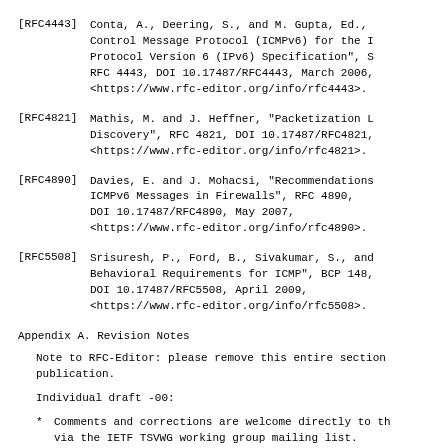[RFC4443]   Conta, A., Deering, S., and M. Gupta, Ed., "Internet Control Message Protocol (ICMPv6) for the Internet Protocol Version 6 (IPv6) Specification", STD 89, RFC 4443, DOI 10.17487/RFC4443, March 2006, <https://www.rfc-editor.org/info/rfc4443>.
[RFC4821]   Mathis, M. and J. Heffner, "Packetization Layer Path MTU Discovery", RFC 4821, DOI 10.17487/RFC4821, March 2007, <https://www.rfc-editor.org/info/rfc4821>.
[RFC4890]   Davies, E. and J. Mohacsi, "Recommendations for Filtering ICMPv6 Messages in Firewalls", RFC 4890, DOI 10.17487/RFC4890, May 2007, <https://www.rfc-editor.org/info/rfc4890>.
[RFC5508]   Srisuresh, P., Ford, B., Sivakumar, S., and S. Guha, "NAT Behavioral Requirements for ICMP", BCP 148, RFC 5508, DOI 10.17487/RFC5508, April 2009, <https://www.rfc-editor.org/info/rfc5508>.
Appendix A.  Revision Notes
Note to RFC-Editor: please remove this entire section before publication.
Individual draft -00:
* Comments and corrections are welcome directly to the authors or via the IETF TSVWG working group mailing list.